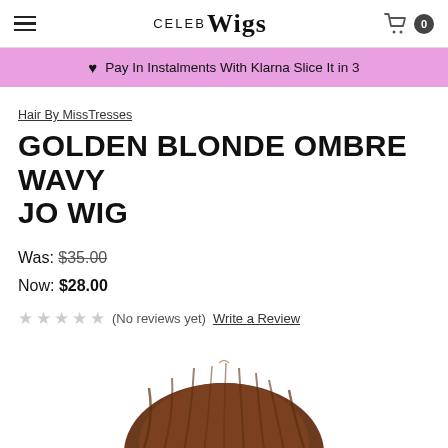CelebWigs — Hamburger menu, cart (0)
♥ Pay In Instalments With Klarna Slice It in 3
Hair By MissTresses
GOLDEN BLONDE OMBRE WAVY JO WIG
Was: $35.00
Now: $28.00
★★★★★ (No reviews yet) Write a Review
[Figure (photo): Bottom portion of a dark brown wavy wig product photo]